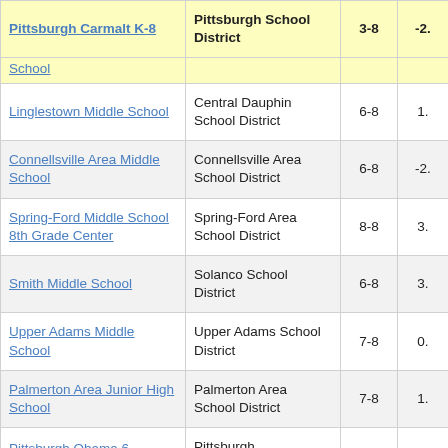| School | District | Grades | Score |
| --- | --- | --- | --- |
| Pittsburgh Carmalt K-8 | Pittsburgh School District | 3-8 | -2. |
| School |  |  |  |
| Linglestown Middle School | Central Dauphin School District | 6-8 | 1. |
| Connellsville Area Middle School | Connellsville Area School District | 6-8 | -2. |
| Spring-Ford Middle School 8th Grade Center | Spring-Ford Area School District | 8-8 | 3. |
| Smith Middle School | Solanco School District | 6-8 | 3. |
| Upper Adams Middle School | Upper Adams School District | 7-8 | 0. |
| Palmerton Area Junior High School | Palmerton Area School District | 7-8 | 1. |
| Pittsburgh Obama 6- | Pittsburgh |  |  |